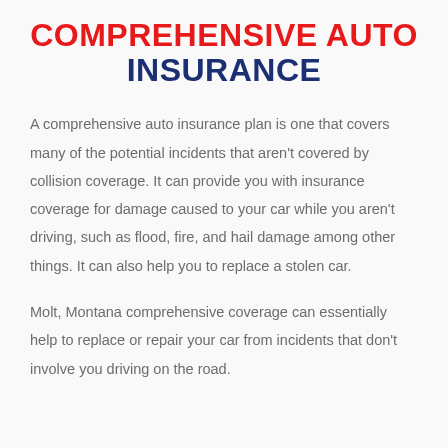COMPREHENSIVE AUTO INSURANCE
A comprehensive auto insurance plan is one that covers many of the potential incidents that aren't covered by collision coverage. It can provide you with insurance coverage for damage caused to your car while you aren't driving, such as flood, fire, and hail damage among other things. It can also help you to replace a stolen car.
Molt, Montana comprehensive coverage can essentially help to replace or repair your car from incidents that don't involve you driving on the road.